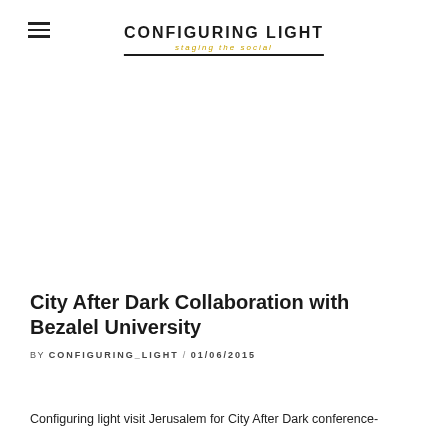CONFIGURING LIGHT staging the social
City After Dark Collaboration with Bezalel University
BY CONFIGURING_LIGHT / 01/06/2015
Configuring light visit Jerusalem for City After Dark conference-